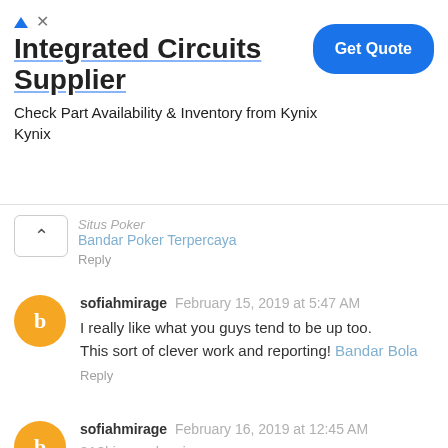[Figure (infographic): Advertisement banner for Integrated Circuits Supplier - Kynix, with a blue 'Get Quote' button, triangle ad icon, and close X button.]
Situs Poker
Bandar Poker Terpercaya
Reply
sofiahmirage  February 15, 2019 at 5:47 AM
I really like what you guys tend to be up too.
This sort of clever work and reporting! Bandar Bola
Reply
sofiahmirage  February 16, 2019 at 12:45 AM
918kiss malaysia
Reply